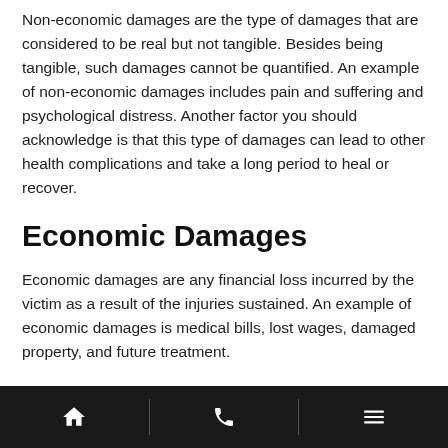Non-economic damages are the type of damages that are considered to be real but not tangible. Besides being tangible, such damages cannot be quantified. An example of non-economic damages includes pain and suffering and psychological distress. Another factor you should acknowledge is that this type of damages can lead to other health complications and take a long period to heal or recover.
Economic Damages
Economic damages are any financial loss incurred by the victim as a result of the injuries sustained. An example of economic damages is medical bills, lost wages, damaged property, and future treatment.
Home | Phone | Menu